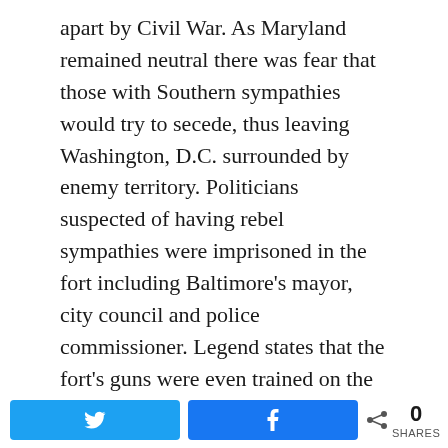apart by Civil War. As Maryland remained neutral there was fear that those with Southern sympathies would try to secede, thus leaving Washington, D.C. surrounded by enemy territory. Politicians suspected of having rebel sympathies were imprisoned in the fort including Baltimore's mayor, city council and police commissioner. Legend states that the fort's guns were even trained on the city it had so dutifully protected.
After the Civil War the fort resumed its regular duty and when war once again tore Europe apart
Twitter share | Facebook share | 0 SHARES